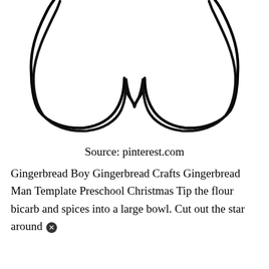[Figure (illustration): Black outline illustration showing the lower portion of a gingerbread man template — the torso bottom and two legs forming an arch shape, with a V-notch between the legs, against a white background.]
Source: pinterest.com
Gingerbread Boy Gingerbread Crafts Gingerbread Man Template Preschool Christmas Tip the flour bicarb and spices into a large bowl. Cut out the star around